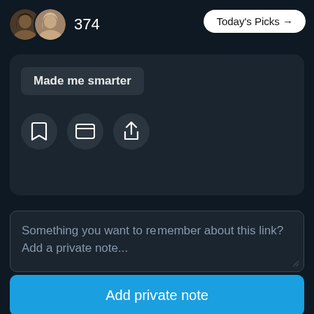[Figure (screenshot): Two circular user avatars side by side — one with a dark-haired woman, one with a lighter-haired woman]
374
Today's Picks →
Made me smarter
[Figure (other): Row of three icon buttons: bookmark icon, browser/window icon, share/upload icon]
Something you want to remember about this link? Add a private note...
Add private note